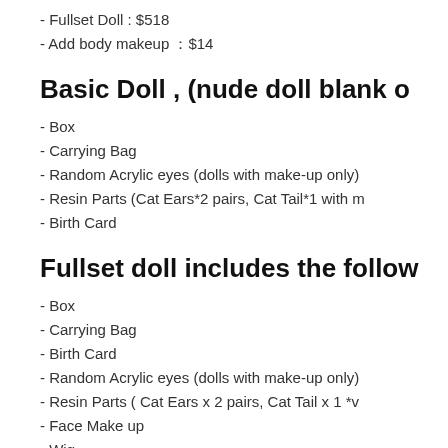- Fullset Doll : $518
- Add body makeup ：$14
Basic Doll , (nude doll blank o
- Box
- Carrying Bag
- Random Acrylic eyes (dolls with make-up only)
- Resin Parts (Cat Ears*2 pairs, Cat Tail*1 with m
- Birth Card
Fullset doll includes the follow
- Box
- Carrying Bag
- Birth Card
- Random Acrylic eyes (dolls with make-up only)
- Resin Parts  ( Cat Ears x 2 pairs, Cat Tail x 1 *v
- Face Make up
- Wig
- Shirt
- Pants
- Shoes